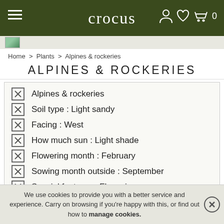crocus
Home > Plants > Alpines & rockeries
ALPINES & ROCKERIES
Alpines & rockeries
Soil type : Light sandy
Facing : West
How much sun : Light shade
Flowering month : February
Sowing month outside : September
Special features : Flowering
Flower colour : Purple
We use cookies to provide you with a better service and experience. Carry on browsing if you're happy with this, or find out how to manage cookies.